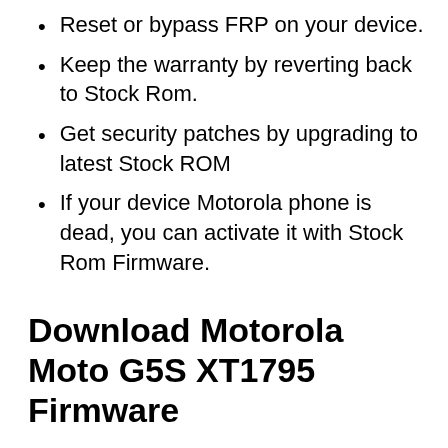Reset or bypass FRP on your device.
Keep the warranty by reverting back to Stock Rom.
Get security patches by upgrading to latest Stock ROM
If your device Motorola phone is dead, you can activate it with Stock Rom Firmware.
Download Motorola Moto G5S XT1795 Firmware